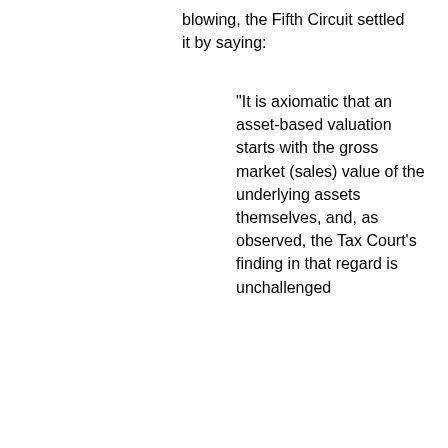blowing, the Fifth Circuit settled it by saying:
"It is axiomatic that an asset-based valuation starts with the gross market (sales) value of the underlying assets themselves, and, as observed, the Tax Court's finding in that regard is unchallenged